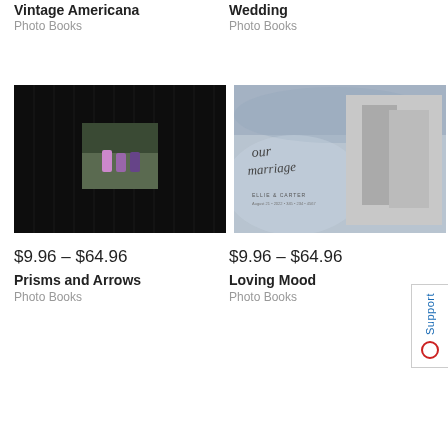Vintage Americana
Photo Books
Wedding
Photo Books
[Figure (photo): Photo book cover with dark/black background featuring a small centered photo of children in a forest]
[Figure (photo): Photo book cover with blue-grey watercolor background showing 'our marriage' script text and a couple wedding photo]
$9.96 – $64.96
Prisms and Arrows
Photo Books
$9.96 – $64.96
Loving Mood
Photo Books